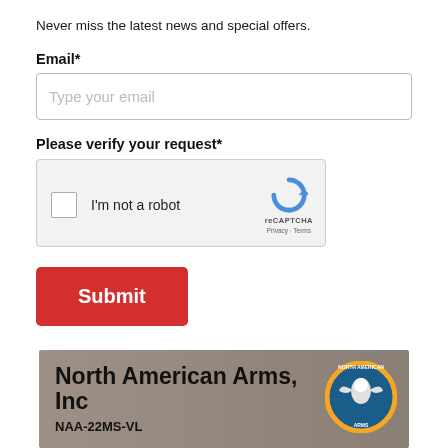Never miss the latest news and special offers.
Email*
Type your email
Please verify your request*
[Figure (other): reCAPTCHA widget with checkbox labeled 'I'm not a robot', reCAPTCHA logo, Privacy and Terms links]
Submit
[Figure (photo): North American Arms, Inc advertisement banner showing brick wall background, company logo with eagle, and text NAA-22MS-VL]